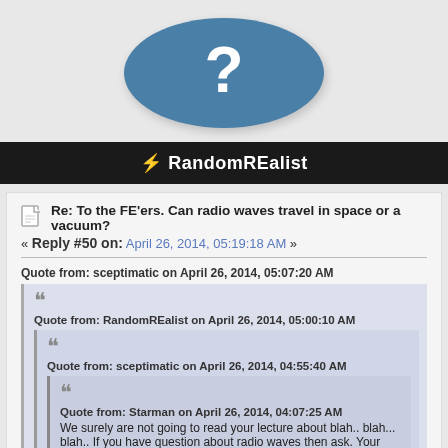[Figure (illustration): Blue oval/ellipse avatar placeholder with a white question mark in the center]
⚡ RandomREalist
Re: To the FE'ers. Can radio waves travel in space or a vacuum?
« Reply #50 on: April 26, 2014, 05:19:18 AM »
Quote from: sceptimatic on April 26, 2014, 05:07:20 AM
Quote from: RandomREalist on April 26, 2014, 05:00:10 AM
Quote from: sceptimatic on April 26, 2014, 04:55:40 AM
Quote from: Starman on April 26, 2014, 04:07:25 AM
We surely are not going to read your lecture about blah.. blah... blah.. If you have question about radio waves then ask. Your babbling is just that.